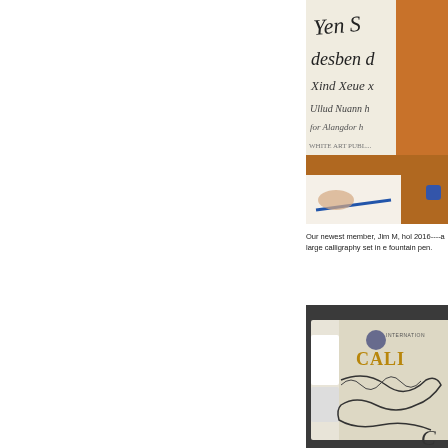[Figure (photo): Photo of a person holding an orange-framed calligraphy manuscript and a notebook with a pen, showing ornate old-style calligraphic script text including words like 'desben' and decorative lettering.]
Our newest member, Jim M, hol 2016----a large calligraphy set in e fountain pen.
[Figure (photo): Photo of an International Calligraphy book or magazine with ornate decorative scroll illustrations on its cover, placed on a dark surface with a white bookmark or tab.]